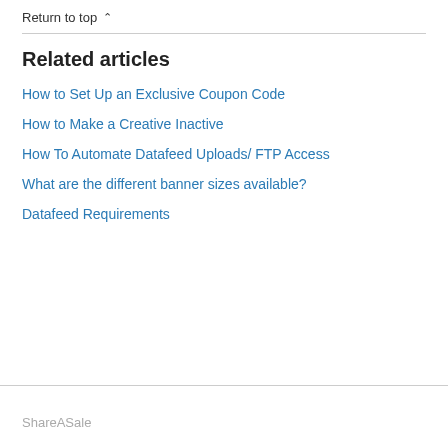Return to top ∧
Related articles
How to Set Up an Exclusive Coupon Code
How to Make a Creative Inactive
How To Automate Datafeed Uploads/ FTP Access
What are the different banner sizes available?
Datafeed Requirements
ShareASale